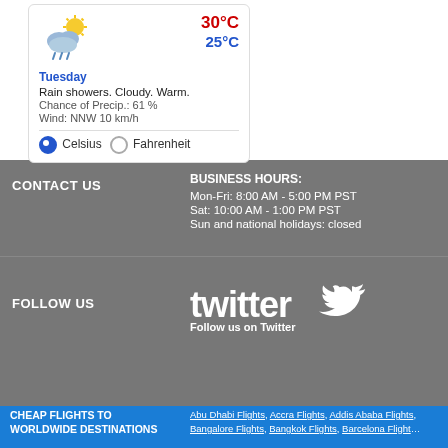[Figure (infographic): Weather widget showing Tuesday forecast: 30°C high, 25°C low, rain showers cloudy warm, chance of precipitation 61%, wind NNW 10 km/h, with Celsius/Fahrenheit selector]
CONTACT US
BUSINESS HOURS:
Mon-Fri: 8:00 AM - 5:00 PM PST
Sat: 10:00 AM - 1:00 PM PST
Sun and national holidays: closed
FOLLOW US
[Figure (logo): Twitter logo with 'Follow us on Twitter' text]
CHEAP FLIGHTS TO WORLDWIDE DESTINATIONS
Abu Dhabi Flights, Accra Flights, Addis Ababa Flights, Bangalore Flights, Bangkok Flights, Barcelona Flights, Brisbane Flights, Brussels Flights, Bucharest Flights, Casablanca Flights, Cebu Flights, Chisinau Flights, Dar es Salaam Flights, Delhi Flights, Djibouti Flights, Dnipro Flights, Frevan Flights, Florence Flights, Frankfurt Flights